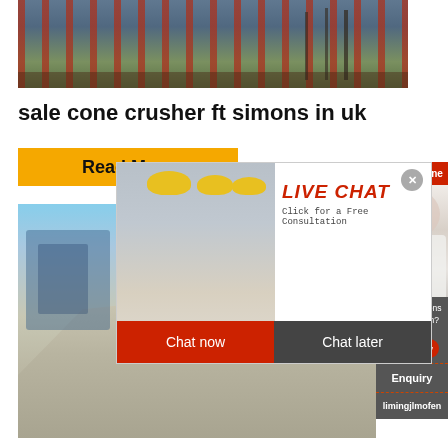[Figure (photo): Industrial facility with red structural columns, conveyor or rail system, hillside in background]
sale cone crusher ft simons in uk
[Figure (infographic): Read More button in yellow/orange, Live Chat popup overlay with workers in hard hats, LIVE CHAT heading in red italic, 'Click for a Free Consultation' subtitle, Chat now and Chat later buttons]
[Figure (photo): Quarry/mining site with crushed stone pile, machinery, blue sky]
[Figure (infographic): Right sidebar with '24Hrs Online' red header, customer service agent photo, 'Need questions & suggestion?' dark panel, Chat Now red pill button, Enquiry label, limingjlmofen label]